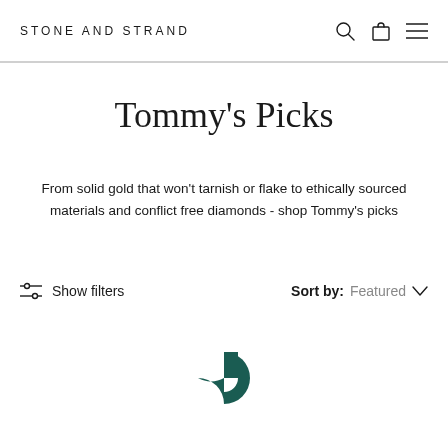STONE AND STRAND
Tommy's Picks
From solid gold that won't tarnish or flake to ethically sourced materials and conflict free diamonds - shop Tommy's picks
Show filters   Sort by: Featured
[Figure (logo): Stone and Strand loading spinner logo in dark teal/green color]